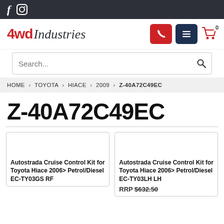f  (instagram icon)
[Figure (logo): 4wd Industries logo with red phone button, dark menu button, and red cart icon with 0 badge]
Search...
HOME > TOYOTA > HIACE > 2009 > Z-40A72C49EC
Z-40A72C49EC
Autostrada Cruise Control Kit for Toyota Hiace 2006> Petrol/Diesel EC-TY03GS RF
Autostrada Cruise Control Kit for Toyota Hiace 2006> Petrol/Diesel EC-TY03LH LH
RRP $632.50